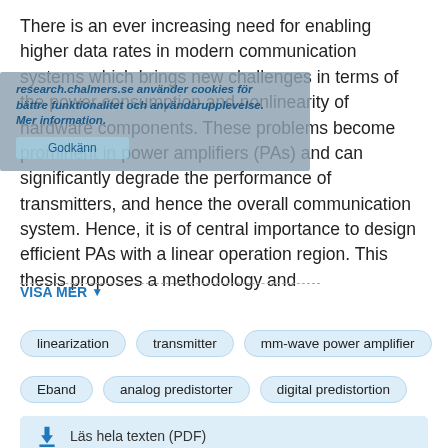There is an ever increasing need for enabling higher data rates in modern communication systems which brings new challenges in terms of the power consumption and nonlinearity of hardware components. These problems become prominent in power amplifiers (PAs) and can significantly degrade the performance of transmitters, and hence the overall communication system. Hence, it is of central importance to design efficient PAs with a linear operation region. This thesis proposes a methodology and
[Figure (screenshot): Cookie consent overlay banner with Swedish text: 'research.chalmers.se använder cookies för bättre funktionalitet och användarupplevelse. Mer information.' with a blue button below.]
VISA MER ▾
linearization
transmitter
mm-wave power amplifier
Eband
analog predistorter
digital predistortion
Läs hela texten (PDF)